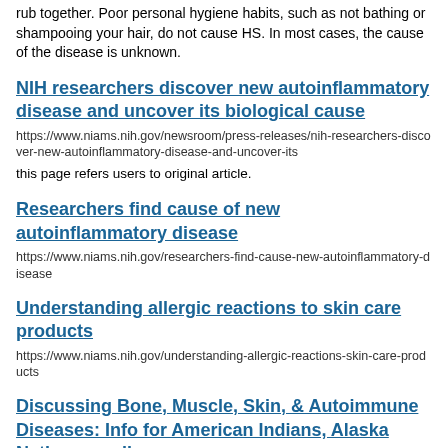rub together. Poor personal hygiene habits, such as not bathing or shampooing your hair, do not cause HS. In most cases, the cause of the disease is unknown.
NIH researchers discover new autoinflammatory disease and uncover its biological cause
https://www.niams.nih.gov/newsroom/press-releases/nih-researchers-discover-new-autoinflammatory-disease-and-uncover-its
this page refers users to original article.
Researchers find cause of new autoinflammatory disease
https://www.niams.nih.gov/researchers-find-cause-new-autoinflammatory-disease
Understanding allergic reactions to skin care products
https://www.niams.nih.gov/understanding-allergic-reactions-skin-care-products
Discussing Bone, Muscle, Skin, & Autoimmune Diseases: Info for American Indians, Alaska Natives , audio